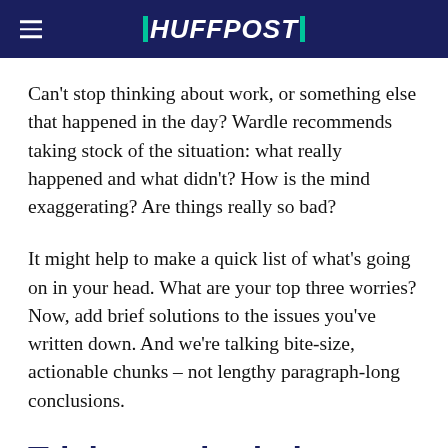HUFFPOST
Can't stop thinking about work, or something else that happened in the day? Wardle recommends taking stock of the situation: what really happened and what didn't? How is the mind exaggerating? Are things really so bad?
It might help to make a quick list of what's going on in your head. What are your top three worries? Now, add brief solutions to the issues you've written down. And we're talking bite-size, actionable chunks – not lengthy paragraph-long conclusions.
Trick your brain into tiredness